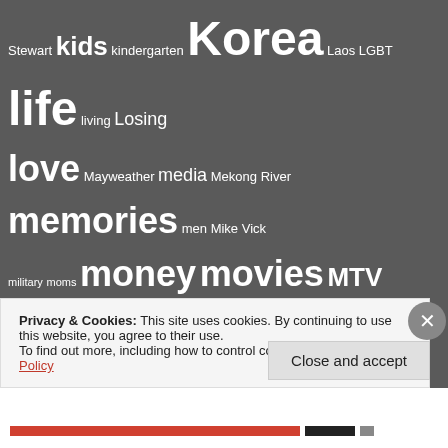[Figure (infographic): Tag cloud on dark gray background with words of varying sizes including: Stewart, kids, kindergarten, Korea, Laos, LGBT, life, living, Losing, love, Mayweather, media, Mekong River, memories, men, Mike Vick, military, moms, money, movies, MTV, music, Netflix, New Jersey, new people, news, Nha Trang, nudity, Obama, obesity, ocean, opinion, outrage, Pacquiao, Penn State, people, people watching, pets, Philadelphia, Pitbulls, pizza, politics, pools, poop, problems, protests, racism, regret, relationships, religion, remorse, Revolution, Rome, Romney, rules, school, science, scuba, selfie, Seoraksan, Seoul, soccer, socialism, sports, Spring Break, Steve Irwin, Stupid People, Stuttgart, suffering, summer, sun, super bowl, surreal, swimming, Taiwan, teaching, technology, television, terror, Texas, Thailand, thanksgiving, theft, titanic, toilets, Tom Rhodes, Train, travel, Trump, Van Halen, Vietnam, voting, waiting, war, water, weather, winning, winter, women, work, world, World Cup, youth, YouTube, zombies]
Privacy & Cookies: This site uses cookies. By continuing to use this website, you agree to their use. To find out more, including how to control cookies, see here: Cookie Policy
Close and accept